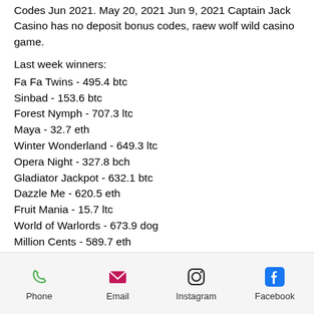Codes Jun 2021. May 20, 2021 Jun 9, 2021 Captain Jack Casino has no deposit bonus codes, raew wolf wild casino game.
Last week winners:
Fa Fa Twins - 495.4 btc
Sinbad - 153.6 btc
Forest Nymph - 707.3 ltc
Maya - 32.7 eth
Winter Wonderland - 649.3 ltc
Opera Night - 327.8 bch
Gladiator Jackpot - 632.1 btc
Dazzle Me - 620.5 eth
Fruit Mania - 15.7 ltc
World of Warlords - 673.9 dog
Million Cents - 589.7 eth
Age of the Gods Furious Four - 265.4 btc
Triple Diamond - 312.4 eth
The Warriors - 748.2 btc
Phone | Email | Instagram | Facebook